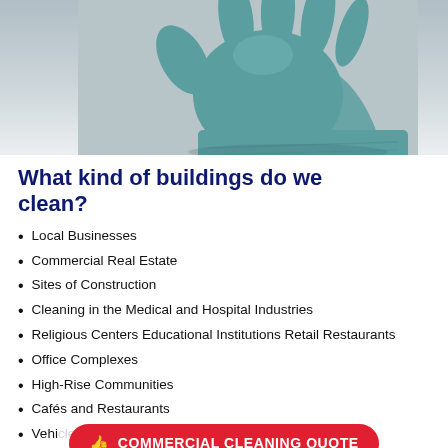[Figure (photo): A blue rubber glove / latex cleaning glove reaching from the right side, photographed against a light grey background.]
What kind of buildings do we clean?
Local Businesses
Commercial Real Estate
Sites of Construction
Cleaning in the Medical and Hospital Industries
Religious Centers Educational Institutions Retail Restaurants
Office Complexes
High-Rise Communities
Cafés and Restaurants
Vehicles
Colleges and Universities